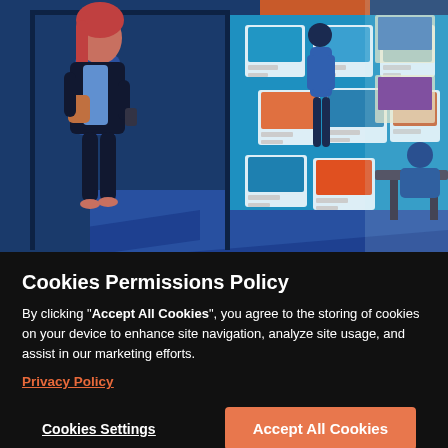[Figure (illustration): Illustrated scene of a real estate agency window with a woman walking by, looking at property listings displayed on the window, another person standing inside looking at listings, and additional property images on the wall. Style is flat vector illustration with blue, orange, and dark navy colors.]
Cookies Permissions Policy
By clicking “Accept All Cookies”, you agree to the storing of cookies on your device to enhance site navigation, analyze site usage, and assist in our marketing efforts.
Privacy Policy
Cookies Settings
Accept All Cookies